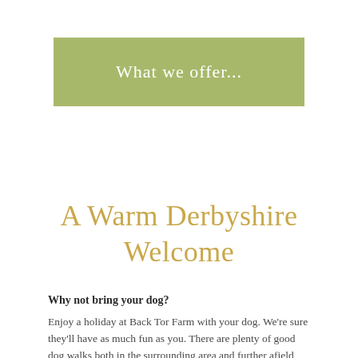What we offer...
A Warm Derbyshire Welcome
Why not bring your dog?
Enjoy a holiday at Back Tor Farm with your dog. We're sure they'll have as much fun as you. There are plenty of good dog walks both in the surrounding area and further afield and several pubs and cafes where dogs are